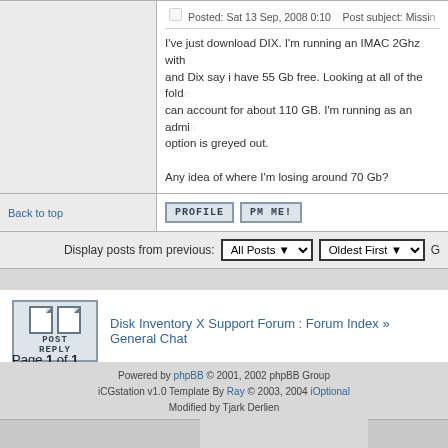Posted: Sat 13 Sep, 2008 0:10  Post subject: Missing...
I've just download DIX. I'm running an IMAC 2Ghz with and Dix say i have 55 Gb free. Looking at all of the folders can account for about 110 GB. I'm running as an admin option is greyed out.

Any idea of where I'm losing around 70 Gb?
Back to top
PROFILE   PM ME!
Display posts from previous:  All Posts  Oldest First  G
Disk Inventory X Support Forum : Forum Index » General Chat
Page 1 of 1
Jump to:  G
You c
You
You c
You ca
Yo
Powered by phpBB © 2001, 2002 phpBB Group
iCGstation v1.0 Template By Ray © 2003, 2004 iOptional
Modified by Tjark Derlien